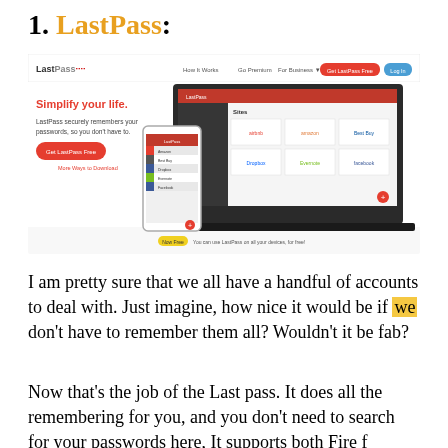1. LastPass:
[Figure (screenshot): Screenshot of the LastPass website homepage showing the LastPass logo, navigation bar with 'How It Works', 'Go Premium', 'For Business', 'Get LastPass Free' (red button), and 'Log In' (blue button). The main content shows a 'Simplify your life.' headline in red, body text 'LastPass securely remembers your passwords, so you don't have to.', a red 'Get LastPass Free' button, 'More Ways to Download' link, and a mockup of the app on laptop and mobile screens showing saved site logos (Airbnb, Amazon, Best Buy, Dropbox, Evernote, Facebook). A yellow 'Now Free' badge with text 'You can use LastPass on all your devices, for free!' appears below.]
I am pretty sure that we all have a handful of accounts to deal with. Just imagine, how nice it would be if we don't have to remember them all? Wouldn't it be fab?
Now that's the job of the Last pass. It does all the remembering for you, and you don't need to search for your passwords here, It supports both Fire f